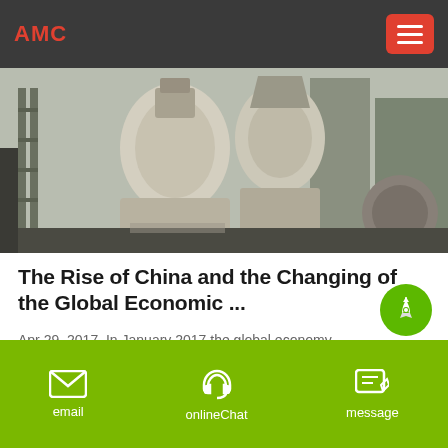AMC
[Figure (photo): Industrial machinery/equipment — crusher or milling machines at a facility, grey-toned industrial photo]
The Rise of China and the Changing of the Global Economic ...
Apr 29, 2017· In January 2017 the global economy changed guard. The venue was Davos, the annual gathering of the world"s wealthiest recyclers of conventional wisdom—and consistently one of ...
email   onlineChat   message